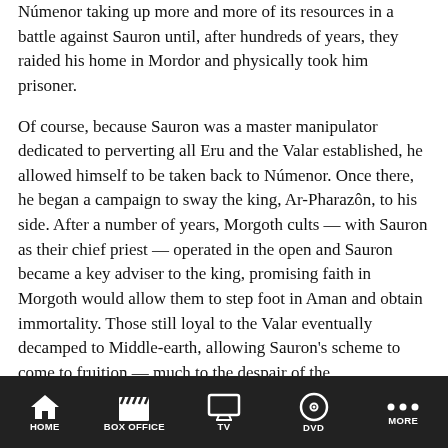Númenor taking up more and more of its resources in a battle against Sauron until, after hundreds of years, they raided his home in Mordor and physically took him prisoner.
Of course, because Sauron was a master manipulator dedicated to perverting all Eru and the Valar established, he allowed himself to be taken back to Númenor. Once there, he began a campaign to sway the king, Ar-Pharazôn, to his side. After a number of years, Morgoth cults — with Sauron as their chief priest — operated in the open and Sauron became a key adviser to the king, promising faith in Morgoth would allow them to step foot in Aman and obtain immortality. Those still loyal to the Valar eventually decamped to Middle-earth, allowing Sauron's scheme to come to fruition — much to the despair of the Númenóreans.
Oh, also, he did all of this while leaving the One Ring back in Mordor.
The Fall of Númenor is one of the great stories in Tolkien's mythology (although many also enjoy the incomplete Second Age
HOME | BOX OFFICE | TV | DVD | MORE